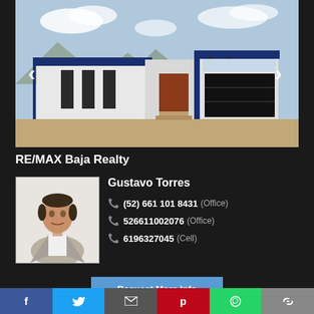[Figure (photo): Exterior photo of a modern single-story white house with dark blue/navy trim accents, a dark brown front door, large garage door, and mountains in the background under a blue sky.]
RE/MAX Baja Realty
[Figure (photo): Headshot photo of male real estate agent Gustavo Torres in a grey suit against white background.]
Gustavo Torres
(52) 661 101 8431 (Office)
526611002076 (Office)
6196327045 (Cell)
Request More Info